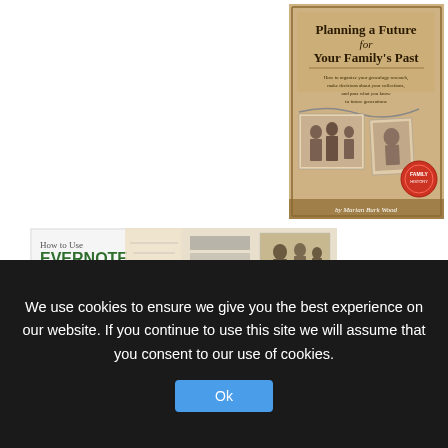[Figure (illustration): Book cover: 'Planning a Future for Your Family's Past' by Marian Burk Wood — antique-style cover with old family photos, text about genealogy research]
[Figure (illustration): Book cover: 'How to Use EVERNOTE for Genealogy' — white/green cover with vintage couple photo and handwritten map]
[Figure (illustration): Book cover: 'organize your genealogy — Strategies and Solutions for Every Researcher' by Drew Smith — colorful cover with old family photos]
We use cookies to ensure we give you the best experience on our website. If you continue to use this site we will assume that you consent to our use of cookies.